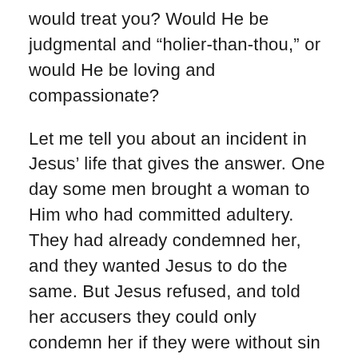would treat you? Would He be judgmental and “holier-than-thou,” or would He be loving and compassionate?
Let me tell you about an incident in Jesus’ life that gives the answer. One day some men brought a woman to Him who had committed adultery. They had already condemned her, and they wanted Jesus to do the same. But Jesus refused, and told her accusers they could only condemn her if they were without sin themselves. One by one they left, and Jesus then told her, “Neither do I condemn you. … Go now and leave your life of sin” (John 8:11).